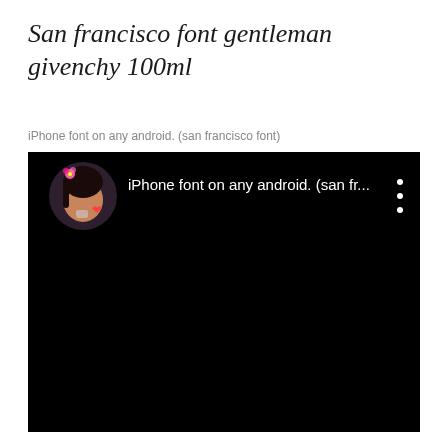San francisco font gentleman givenchy 100ml
iPhone font on any android. (san francisco font)
[Figure (screenshot): A dark/black video thumbnail from a YouTube-style interface showing a female emoji avatar on the left and the text 'iPhone font on any android. (san fr...' in white on a black background, with a three-dot menu icon on the right.]